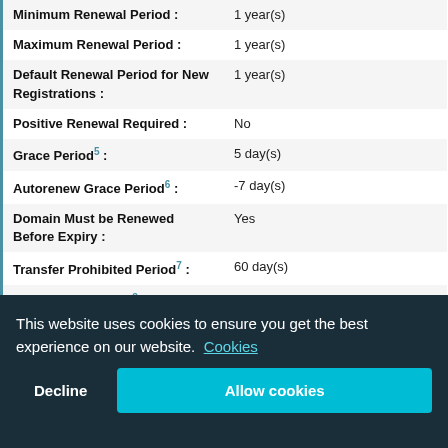| Property | Value |
| --- | --- |
| Minimum Renewal Period : | 1 year(s) |
| Maximum Renewal Period : | 1 year(s) |
| Default Renewal Period for New Registrations : | 1 year(s) |
| Positive Renewal Required : | No |
| Grace Period⁵ : | 5 day(s) |
| Autorenew Grace Period⁶ : | -7 day(s) |
| Domain Must be Renewed Before Expiry : | Yes |
| Transfer Prohibited Period⁷ : | 60 day(s) |
| Redemption Period⁸ : | None |
| Redemption Fee⁹ : | £ |
| Intended Use : | Entities connected with Rwanda |
| Actual Use : | Used in Rwanda |
This website uses cookies to ensure you get the best experience on our website. Cookies
Decline | Allow cookies
5. The Grace Period is a specified number of calendar days